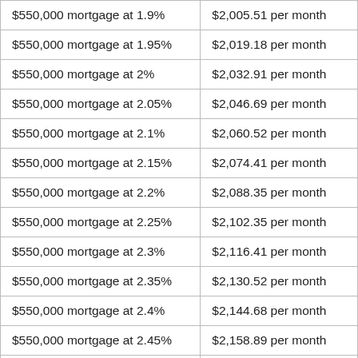| $550,000 mortgage at 1.9% | $2,005.51 per month |
| $550,000 mortgage at 1.95% | $2,019.18 per month |
| $550,000 mortgage at 2% | $2,032.91 per month |
| $550,000 mortgage at 2.05% | $2,046.69 per month |
| $550,000 mortgage at 2.1% | $2,060.52 per month |
| $550,000 mortgage at 2.15% | $2,074.41 per month |
| $550,000 mortgage at 2.2% | $2,088.35 per month |
| $550,000 mortgage at 2.25% | $2,102.35 per month |
| $550,000 mortgage at 2.3% | $2,116.41 per month |
| $550,000 mortgage at 2.35% | $2,130.52 per month |
| $550,000 mortgage at 2.4% | $2,144.68 per month |
| $550,000 mortgage at 2.45% | $2,158.89 per month |
| $550,000 mortgage at 2.5% | $2,173.16 per month |